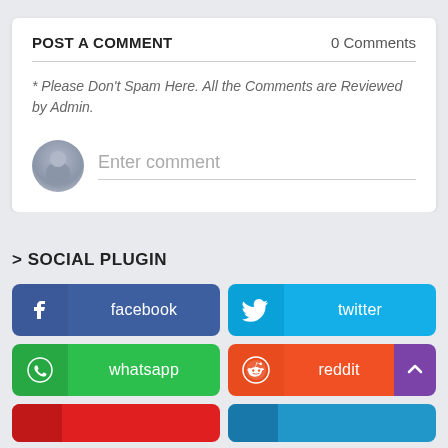POST A COMMENT
0 Comments
* Please Don't Spam Here. All the Comments are Reviewed by Admin.
Enter comment
> SOCIAL PLUGIN
facebook
twitter
whatsapp
reddit